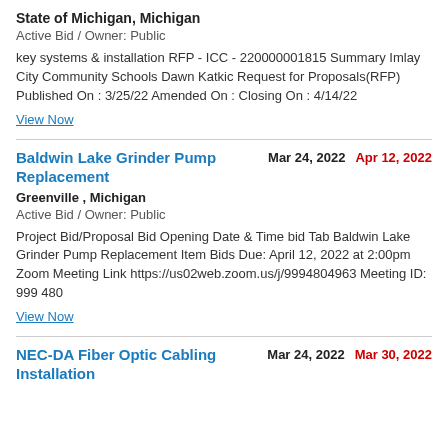State of Michigan, Michigan
Active Bid / Owner: Public
key systems & installation RFP - ICC - 220000001815 Summary Imlay City Community Schools Dawn Katkic Request for Proposals(RFP) Published On : 3/25/22 Amended On : Closing On : 4/14/22
View Now
Baldwin Lake Grinder Pump Replacement
Mar 24, 2022  Apr 12, 2022
Greenville , Michigan
Active Bid / Owner: Public
Project Bid/Proposal Bid Opening Date & Time bid Tab Baldwin Lake Grinder Pump Replacement Item Bids Due: April 12, 2022 at 2:00pm Zoom Meeting Link https://us02web.zoom.us/j/9994804963 Meeting ID: 999 480
View Now
NEC-DA Fiber Optic Cabling Installation
Mar 24, 2022  Mar 30, 2022